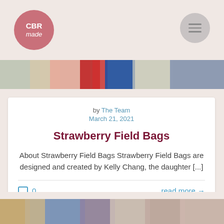CBR made — logo and navigation header
[Figure (screenshot): Photo strip of colorful bags hanging on a rack]
by The Team
March 21, 2021
Strawberry Field Bags
About Strawberry Field Bags Strawberry Field Bags are designed and created by Kelly Chang, the daughter [...]
0   read more →
[Figure (photo): Photo strip of clothing items on hangers at the bottom of the page]